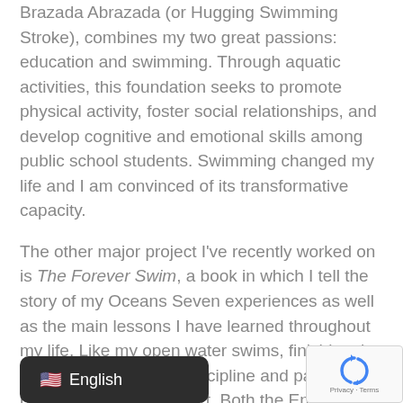Brazada Abrazada (or Hugging Swimming Stroke), combines my two great passions: education and swimming. Through aquatic activities, this foundation seeks to promote physical activity, foster social relationships, and develop cognitive and emotional skills among public school students. Swimming changed my life and I am convinced of its transformative capacity.
The other major project I've recently worked on is The Forever Swim, a book in which I tell the story of my Oceans Seven experiences as well as the main lessons I have learned throughout my life. Like my open water swims, finishing the book required a lot of discipline and patience, but it was worth the effort. Both the English and Spanish versions are available for purchase.
[Figure (screenshot): Language selector button showing US flag emoji and text 'English' on dark background]
[Figure (logo): Google reCAPTCHA badge with blue recycling-style arrows logo and 'Privacy - Terms' text]